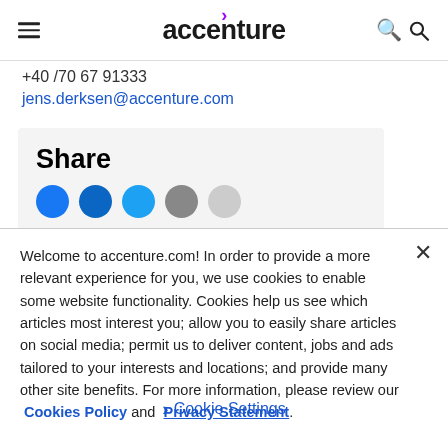accenture
+40 /70 67 91333
jens.derksen@accenture.com
Share
Welcome to accenture.com! In order to provide a more relevant experience for you, we use cookies to enable some website functionality. Cookies help us see which articles most interest you; allow you to easily share articles on social media; permit us to deliver content, jobs and ads tailored to your interests and locations; and provide many other site benefits. For more information, please review our Cookies Policy and Privacy Statement.
Cookie Settings